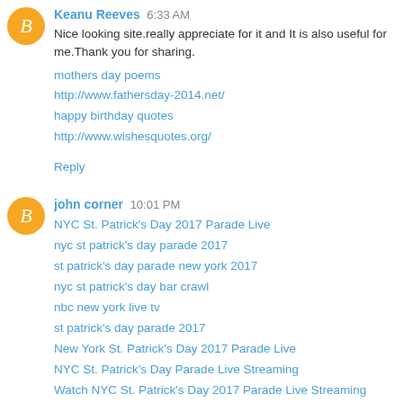Keanu Reeves 6:33 AM
Nice looking site.really appreciate for it and It is also useful for me.Thank you for sharing.
mothers day poems
http://www.fathersday-2014.net/
happy birthday quotes
http://www.wishesquotes.org/
Reply
john corner 10:01 PM
NYC St. Patrick's Day 2017 Parade Live
nyc st patrick's day parade 2017
st patrick's day parade new york 2017
nyc st patrick's day bar crawl
nbc new york live tv
st patrick's day parade 2017
New York St. Patrick's Day 2017 Parade Live
NYC St. Patrick's Day Parade Live Streaming
Watch NYC St. Patrick's Day 2017 Parade Live Streaming
NYC St. Patrick's Day Parade Live Online